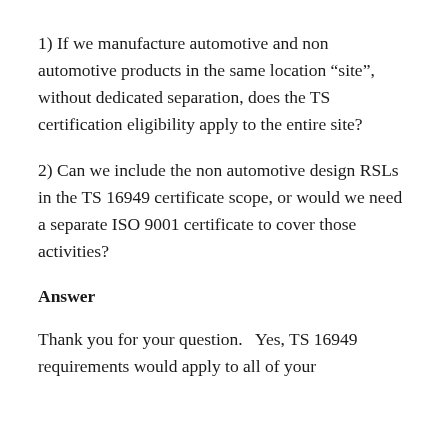1) If we manufacture automotive and non automotive products in the same location “site”, without dedicated separation, does the TS certification eligibility apply to the entire site?
2) Can we include the non automotive design RSLs in the TS 16949 certificate scope, or would we need a separate ISO 9001 certificate to cover those activities?
Answer
Thank you for your question.   Yes, TS 16949 requirements would apply to all of your